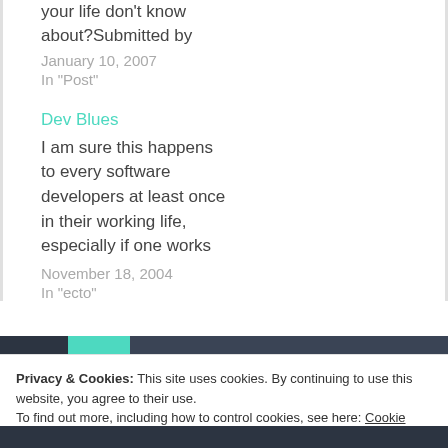your life don't know about?Submitted by
January 10, 2007
In "Post"
Dev Blues
I am sure this happens to every software developers at least once in their working life, especially if one works
November 18, 2004
In "ecto"
Privacy & Cookies: This site uses cookies. By continuing to use this website, you agree to their use.
To find out more, including how to control cookies, see here: Cookie Policy